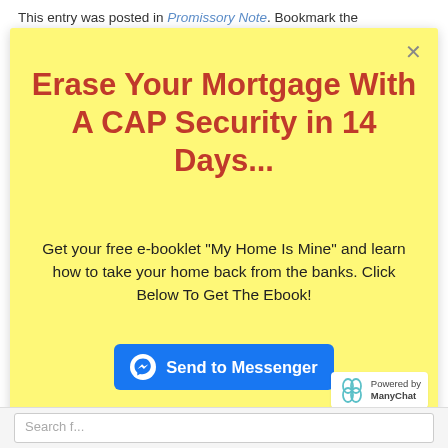This entry was posted in Promissory Note. Bookmark the
[Figure (screenshot): Yellow modal popup advertisement for a free e-booklet about erasing mortgage with a CAP Security in 14 days, with a Send to Messenger button and ManyChat badge]
Erase Your Mortgage With A CAP Security in 14 Days...
Get your free e-booklet "My Home Is Mine" and learn how to take your home back from the banks. Click Below To Get The Ebook!